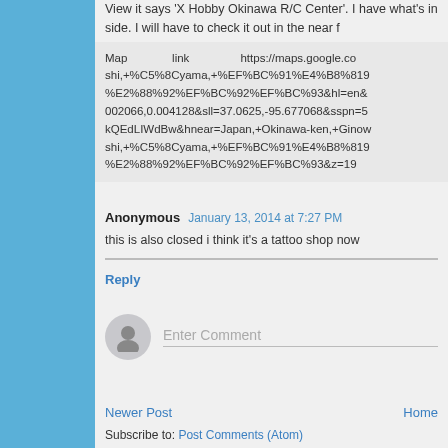View it says 'X Hobby Okinawa R/C Center'. I have what's inside. I will have to check it out in the near f
Map link https://maps.google.co shi,+%C5%8Cyama,+%EF%BC%91%E4%B8%81 %E2%88%92%EF%BC%92%EF%BC%93&hl=en& 002066,0.004128&sll=37.0625,-95.677068&sspn=5 kQEdLIWdBw&hnear=Japan,+Okinawa-ken,+Gino shi,+%C5%8Cyama,+%EF%BC%91%E4%B8%81 %E2%88%92%EF%BC%92%EF%BC%93&z=19
Anonymous January 13, 2014 at 7:27 PM
this is also closed i think it's a tattoo shop now
Reply
Enter Comment
Newer Post
Home
Subscribe to: Post Comments (Atom)